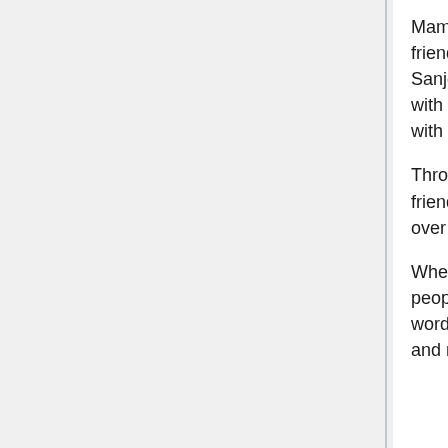Mamoru makes himself focus on things like finding a seat with his friends, keeping his attention on his surroundings, keeping an eye out for Sanjouin, trying to spot the other Senshi though he knows if they're not with Usagi they're not there, and nominally participating in conversation with Eri and Mai.
Through it all is his awareness that she's right over there, and they're friends, and she likes someone else, but they're friends, and she's right over there.
When the sleep-inducing mumble of the Grunge Poet begins to make people literally nod off, the eleventh-grader's not paying attention to the words, but their effect. He glances over in alarm as Mai begins to nod off, and reaches to lightly